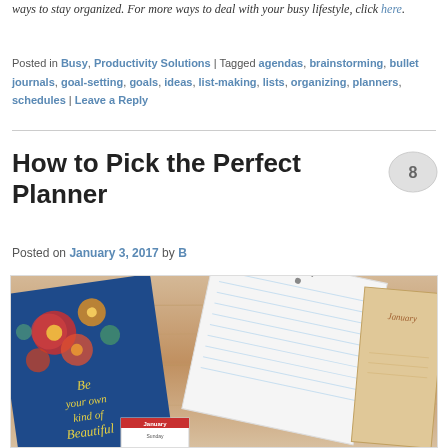ways to stay organized. For more ways to deal with your busy lifestyle, click here.
Posted in Busy, Productivity Solutions | Tagged agendas, brainstorming, bullet journals, goal-setting, goals, ideas, list-making, lists, organizing, planners, schedules | Leave a Reply
How to Pick the Perfect Planner
Posted on January 3, 2017 by B
[Figure (photo): Photo of multiple planners on a wooden desk including a blue floral 'Be your own kind of Beautiful' planner, a spiral notebook, a January calendar block, and a tan planner with 'January' label]